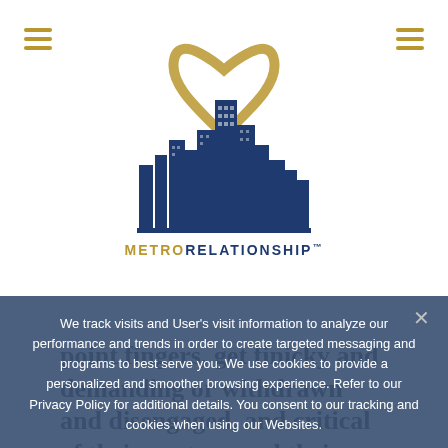[Figure (logo): MetroRelationship logo: city skyline in dark navy blue with a gold heart shape above, text METRORELATIONSHIP with TM mark below]
point fingers, get finicky and demanding or withdrawn and disengaged, and critical of their partner and their ways. Feeling stuck is usually a relationship mindset issue.
We track visits and User's visit information to analyze our performance and trends in order to create targeted messaging and programs to best serve you. We use cookies to provide a personalized and smoother browsing experience. Refer to our Privacy Policy for additional details. You consent to our tracking and cookies when using our Websites.
OK